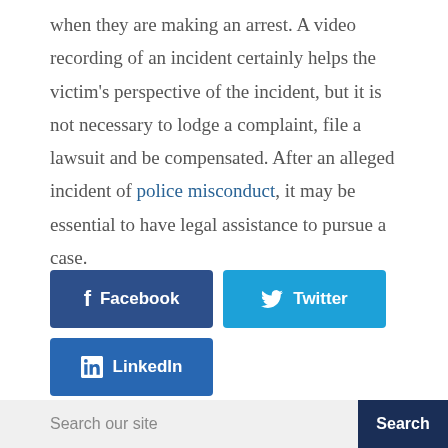when they are making an arrest. A video recording of an incident certainly helps the victim's perspective of the incident, but it is not necessary to lodge a complaint, file a lawsuit and be compensated. After an alleged incident of police misconduct, it may be essential to have legal assistance to pursue a case.
[Figure (infographic): Social media share buttons: Facebook (dark blue), Twitter (light blue), LinkedIn (blue)]
[Figure (infographic): Search bar with 'Search our site' placeholder text and a dark blue 'Search' button]